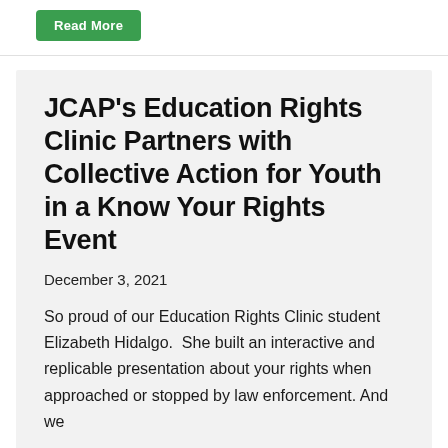[Figure (other): Green 'Read More' button partially visible at top of page]
JCAP's Education Rights Clinic Partners with Collective Action for Youth in a Know Your Rights Event
December 3, 2021
So proud of our Education Rights Clinic student Elizabeth Hidalgo.  She built an interactive and replicable presentation about your rights when approached or stopped by law enforcement. And we